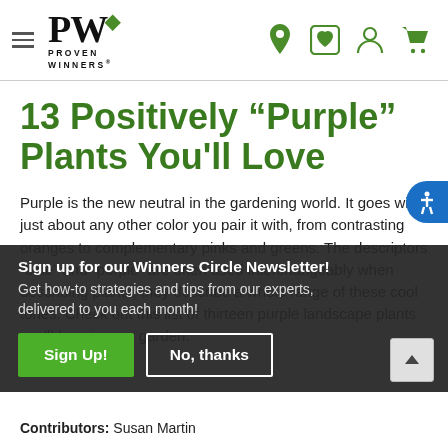Proven Winners - Navigation header with logo and icons
13 Positively “Purple” Plants You'll Love
Purple is the new neutral in the gardening world. It goes with just about any other color you pair it with, from contrasting oranges to complementary pinks and greens. The descriptors “blue” and “purple” are often used interchangeably when describing plants; they describe a whole range of these cool tones. Check out this list of thirteen purple landscape plants you'll love in your garden.
Sign up for our Winners Circle Newsletter! Get how-to strategies and tips from our experts, delivered to you each month!
Contributors: Susan Martin